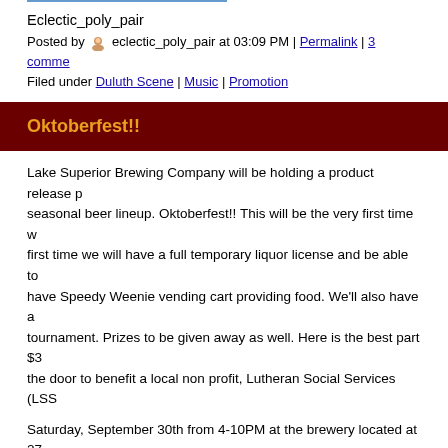Eclectic_poly_pair
Posted by eclectic_poly_pair at 03:09 PM | Permalink | 3 comments
Filed under Duluth Scene | Music | Promotion
Oktoberfest!!
Lake Superior Brewing Company will be holding a product release of their seasonal beer lineup. Oktoberfest!! This will be the very first time we first time we will have a full temporary liquor license and be able to have Speedy Weenie vending cart providing food. We'll also have a tournament. Prizes to be given away as well. Here is the best part $3 the door to benefit a local non profit, Lutheran Social Services (LSS
Saturday, September 30th from 4-10PM at the brewery located at 27 restaurant.
Posted by dbrewing at 12:03 PM | Permalink | 0 comments
Filed under Duluth Scene